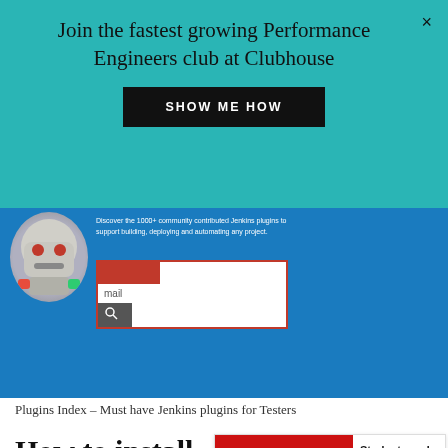[Figure (screenshot): Teal banner with text 'Join the fastest growing Performance Engineers club at Clubhouse' and a black 'SHOW ME HOW' button, with a close X button.]
[Figure (screenshot): Jenkins plugins index website screenshot showing Jenkins logo, text about community contributed plugins, and a search box with 'mail' entered.]
Plugins Index – Must have Jenkins plugins for Testers
How to install Jenkins plug…
[Figure (illustration): Adobe Creative Cloud advertisement showing the Adobe CC logo (red background with white infinity/chain link icon) and text: 'Students and Teachers, save up to 60% on Adobe Creative Cloud.' Below: 'ADS VIA CARBON']
Now w… plugins… Jenkins successfully. You must login as